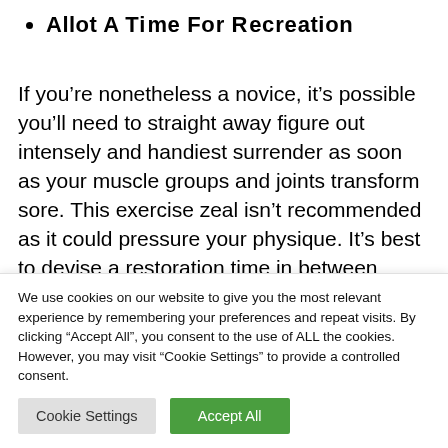Allot A Time For Recreation
If you’re nonetheless a novice, it’s possible you’ll need to straight away figure out intensely and handiest surrender as soon as your muscle groups and joints transform sore. This exercise zeal isn’t recommended as it could pressure your physique. It’s best to devise a restoration time in between workout routines in order to not surprise your
We use cookies on our website to give you the most relevant experience by remembering your preferences and repeat visits. By clicking “Accept All”, you consent to the use of ALL the cookies. However, you may visit "Cookie Settings" to provide a controlled consent.